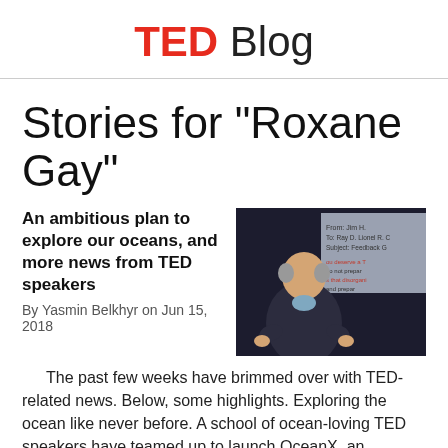TED Blog
Stories for "Roxane Gay"
An ambitious plan to explore our oceans, and more news from TED speakers
By Yasmin Belkhyr on Jun 15, 2018
[Figure (photo): A man speaking on a TED stage with a projected presentation screen behind him]
The past few weeks have brimmed over with TED-related news. Below, some highlights. Exploring the ocean like never before. A school of ocean-loving TED speakers have teamed up to launch OceanX, an international initiative dedicated to discovering more of our oceans in an effort to “inspire a human connection to the sea.” The coalition...